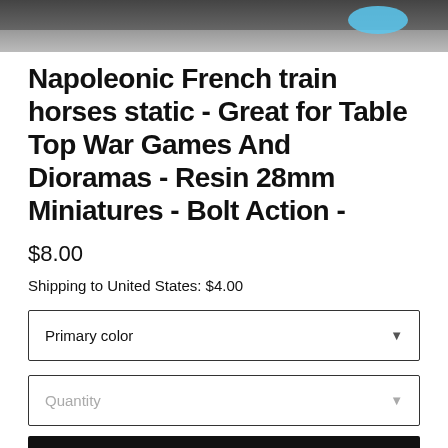[Figure (photo): Partial product image showing miniature figurines on a dark grid surface with blue elements]
Napoleonic French train horses static - Great for Table Top War Games And Dioramas - Resin 28mm Miniatures - Bolt Action -
$8.00
Shipping to United States: $4.00
Primary color
Quantity
ADD TO CART